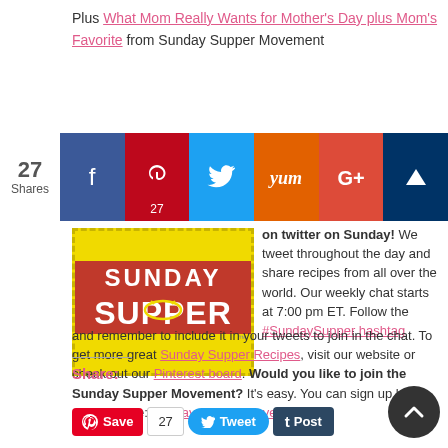Plus What Mom Really Wants for Mother's Day plus Mom's Favorite from Sunday Supper Movement
[Figure (infographic): Social sharing bar with count 27 Shares, Facebook, Pinterest (27), Twitter, Yummly, Google+, and crown icon buttons]
[Figure (logo): Sunday Supper Movement logo - yellow background with dashed border, red text reading SUNDAY SUPPER with bowl icon and TM mark]
on twitter on Sunday! We tweet throughout the day and share recipes from all over the world. Our weekly chat starts at 7:00 pm ET. Follow the #SundaySupper hashtag and remember to include it in your tweets to join in the chat. To get more great Sunday Supper Recipes, visit our website or check out our Pinterest board. Would you like to join the Sunday Supper Movement? It's easy. You can sign up by clicking here: Sunday Supper Movement.
Share:
[Figure (infographic): Bottom sharing buttons: Pinterest Save with count 27, Tweet, and Tumblr Post buttons, plus a circular up-arrow button]